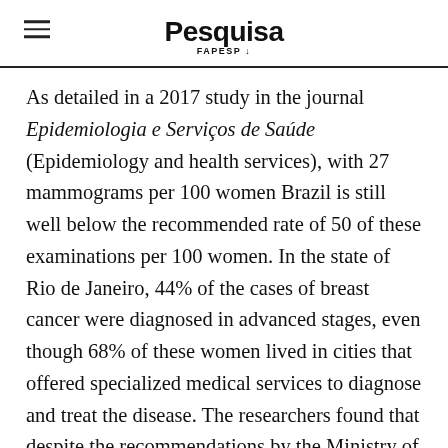Pesquisa FAPESP
As detailed in a 2017 study in the journal Epidemiologia e Serviços de Saúde (Epidemiology and health services), with 27 mammograms per 100 women Brazil is still well below the recommended rate of 50 of these examinations per 100 women. In the state of Rio de Janeiro, 44% of the cases of breast cancer were diagnosed in advanced stages, even though 68% of these women lived in cities that offered specialized medical services to diagnose and treat the disease. The researchers found that despite the recommendations by the Ministry of Health (MOH) to control breast cancer, information systems containing the list of women to be called for examinations and followed over the years are